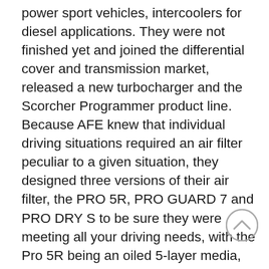power sport vehicles, intercoolers for diesel applications. They were not finished yet and joined the differential cover and transmission market, released a new turbocharger and the Scorcher Programmer product line. Because AFE knew that individual driving situations required an air filter peculiar to a given situation, they designed three versions of their air filter, the PRO 5R, PRO GUARD 7 and PRO DRY S to be sure they were meeting all your driving needs, with the Pro 5R being an oiled 5-layer media, the Pro Guard 7 being an oiled 7 layer media design and the Pro Dry requiring no oil. These air filters are a simple way to improve your car's performance and if you are ready to make the change away from the factory restrictive air filter and upgrade to a high-flow aftermarket filter you might want to consider the AFE short ram intake